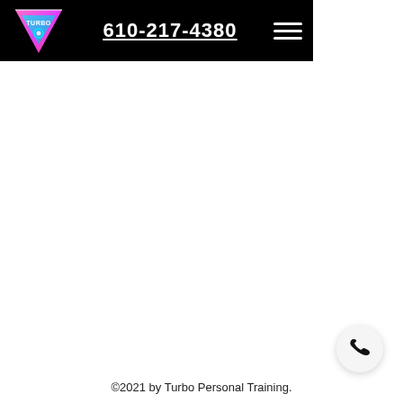[Figure (logo): Turbo Personal Training logo: colorful retro triangle with TURBO text]
610-217-4380
©2021 by Turbo Personal Training.